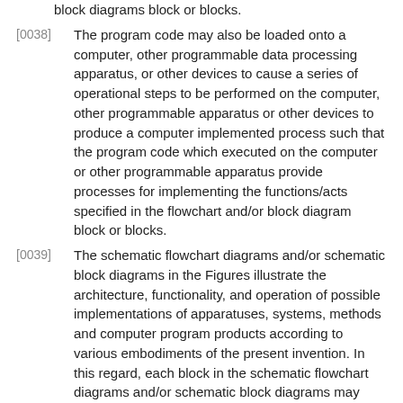block diagrams block or blocks.
[0038] The program code may also be loaded onto a computer, other programmable data processing apparatus, or other devices to cause a series of operational steps to be performed on the computer, other programmable apparatus or other devices to produce a computer implemented process such that the program code which executed on the computer or other programmable apparatus provide processes for implementing the functions/acts specified in the flowchart and/or block diagram block or blocks.
[0039] The schematic flowchart diagrams and/or schematic block diagrams in the Figures illustrate the architecture, functionality, and operation of possible implementations of apparatuses, systems, methods and computer program products according to various embodiments of the present invention. In this regard, each block in the schematic flowchart diagrams and/or schematic block diagrams may represent a module, segment, or portion of code, which